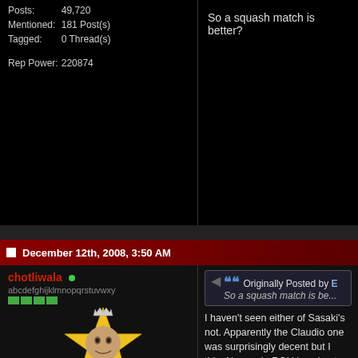Posts: 49,720
Mentioned: 181 Post(s)
Tagged: 0 Thread(s)
Rep Power: 220874
So a squash match is better?
December 12th, 2008, 3:50 AM
chotliwala
abcdefghijklmnopqrstuvwxy
[Figure (illustration): Avatar image: star-shaped frame with a face inside, text NIGBAMA below, crown on top]
Join Date: Jul 2006
Posts: 14,296
Mentioned: 0 Post(s)
Tagged: 0 Thread(s)
Rep Power: 107
Originally Posted by E
So a squash match is be...
I haven't seen either of Sasaki's not. Apparently the Claudio one was surprisingly decent but I thi... No one in ROH is going to pin t... title match but a good competiti... can help. Basically what they've... Nigel, Dragon and Aries.